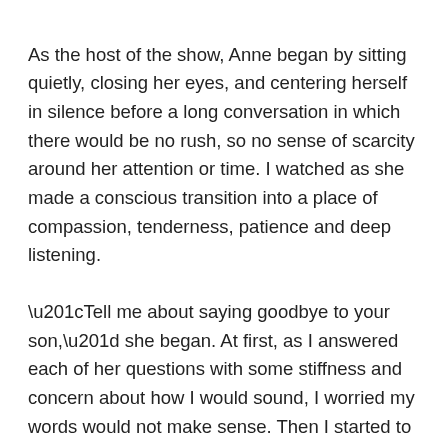As the host of the show, Anne began by sitting quietly, closing her eyes, and centering herself in silence before a long conversation in which there would be no rush, so no sense of scarcity around her attention or time. I watched as she made a conscious transition into a place of compassion, tenderness, patience and deep listening.
“Tell me about saying goodbye to your son,” she began. At first, as I answered each of her questions with some stiffness and concern about how I would sound, I worried my words would not make sense. Then I started to relax as I realized she was giving me all the time I needed to explain such a complicated, nuanced topic as navigating terminal illness in a child. As I spoke, her expression seemed to offer only